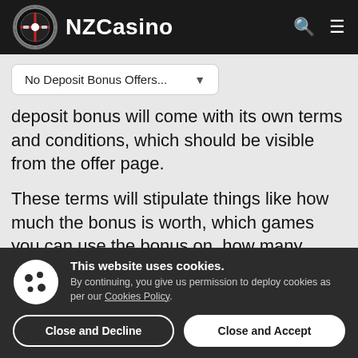NZCasino
No Deposit Bonus Offers...
deposit bonus will come with its own terms and conditions, which should be visible from the offer page.
These terms will stipulate things like how much the bonus is worth, which games you can use the bonus on, how many times it
This website uses cookies. By continuing, you give us permission to deploy cookies as per our Cookies Policy.
Close and Decline
Close and Accept